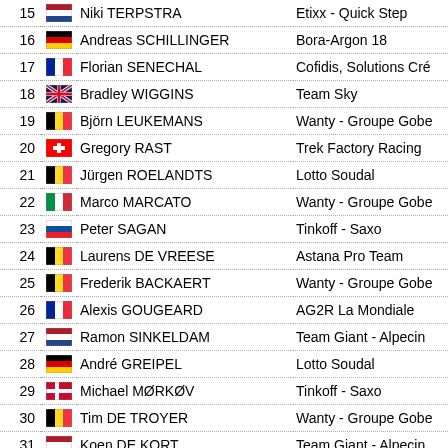| # | Flag | Name | Team |
| --- | --- | --- | --- |
| 15 | NED | Niki TERPSTRA | Etixx - Quick Step |
| 16 | GER | Andreas SCHILLINGER | Bora-Argon 18 |
| 17 | FRA | Florian SENECHAL | Cofidis, Solutions Cré |
| 18 | GBR | Bradley WIGGINS | Team Sky |
| 19 | BEL | Björn LEUKEMANS | Wanty - Groupe Gobe |
| 20 | SUI | Gregory RAST | Trek Factory Racing |
| 21 | BEL | Jürgen ROELANDTS | Lotto Soudal |
| 22 | ITA | Marco MARCATO | Wanty - Groupe Gobe |
| 23 | SVK | Peter SAGAN | Tinkoff - Saxo |
| 24 | BEL | Laurens DE VREESE | Astana Pro Team |
| 25 | BEL | Frederik BACKAERT | Wanty - Groupe Gobe |
| 26 | FRA | Alexis GOUGEARD | AG2R La Mondiale |
| 27 | NED | Ramon SINKELDAM | Team Giant - Alpecin |
| 28 | GER | André GREIPEL | Lotto Soudal |
| 29 | DEN | Michael MØRKØV | Tinkoff - Saxo |
| 30 | BEL | Tim DE TROYER | Wanty - Groupe Gobe |
| 31 | NED | Koen DE KORT | Team Giant - Alpecin |
| 32 | FRA | Yoann OFFREDO | FDJ |
| 33 | BEL | Stijn VANDENBERGH | Etixx - Quick Step |
| 34 | ITA | Manuel QUINZIATO | BMC Racing Team |
| 35 | DEN | Lars Ytting BAK | Lotto Soudal |
| 36 | GER | Marcel SIEBERG | Lotto Soudal |